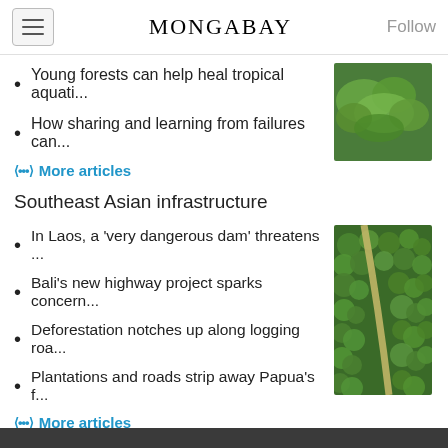MONGABAY
Young forests can help heal tropical aquati...
How sharing and learning from failures can...
More articles
Southeast Asian infrastructure
In Laos, a ‘very dangerous dam’ threatens ...
Bali’s new highway project sparks concern...
Deforestation notches up along logging roa...
Plantations and roads strip away Papua’s f...
More articles